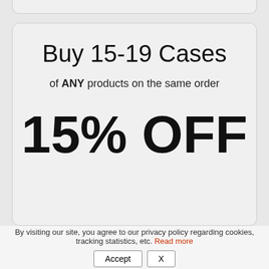Buy 15-19 Cases
of ANY products on the same order
15% OFF
“Fischer Paper Products 1060-PL Grease Resistant Breadstick Bags 5 x 3 x 12 Plain” has been added to your
VIEW CART
By visiting our site, you agree to our privacy policy regarding cookies, tracking statistics, etc. Read more
Accept
X